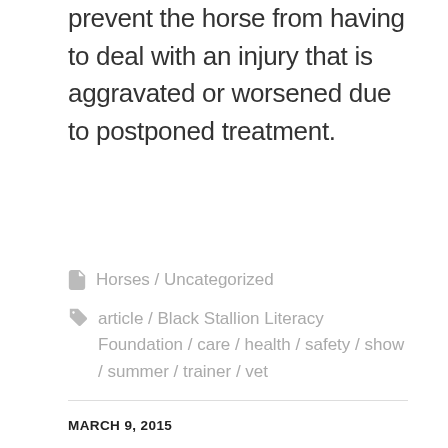prevent the horse from having to deal with an injury that is aggravated or worsened due to postponed treatment.
Horses / Uncategorized
article / Black Stallion Literacy Foundation / care / health / safety / show / summer / trainer / vet
MARCH 9, 2015